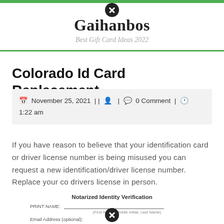Gaihanbos — Best Gift Card Ideas 2022
Colorado Id Card Replacement
November 25, 2021 | | | 0 Comment | 1:22 am
If you have reason to believe that your identification card or driver license number is being misused you can request a new identification/driver license number. Replace your co drivers license in person.
[Figure (other): Partial view of a Notarized Identity Verification form showing PRINT NAME field with line and hint text (First Name, Middle Initial, Last Name), and Email Address field label below.]